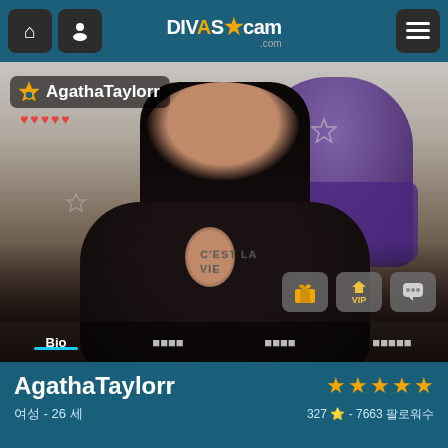DivasCam.com navigation bar with home, profile, logo, and menu buttons
[Figure (screenshot): Live webcam stream of AgathaTaylorr, a young woman with long dark hair, wearing a black top, in a room with a purple velvet chair. Overlay shows username AgathaTaylorr with star icon, red heart rating icons, action buttons (gift, VIP, chat), and tab navigation (Bio, [tabs]).]
AgathaTaylorr
327 ★★★★½ - 7663
여성 - 26 세